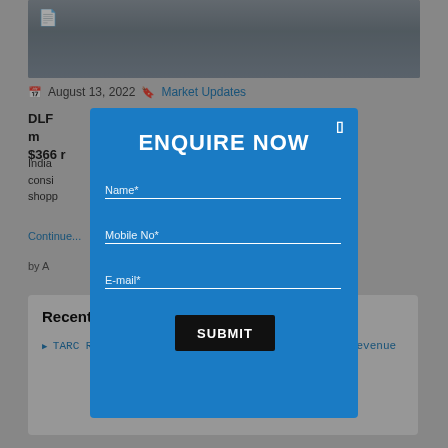[Figure (photo): Top background image showing what appears to be a road or infrastructure scene, partially visible]
August 13, 2022  Market Updates
DLF m... ice of $366 r...
India... consi... shopp...
Conti...
by A...
Recent Posts
TARC Reports 161% YoY Growth in Consolidated Revenue
ENQUIRE NOW
Name*
Mobile No*
E-mail*
SUBMIT